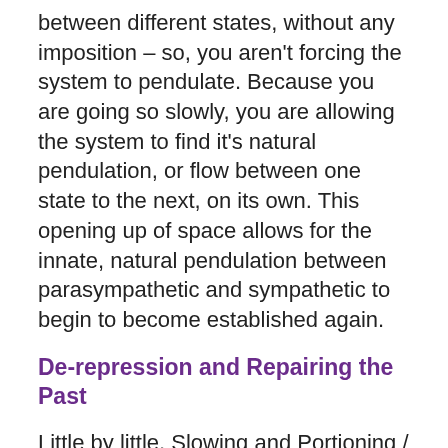between different states, without any imposition – so, you aren't forcing the system to pendulate. Because you are going so slowly, you are allowing the system to find it's natural pendulation, or flow between one state to the next, on its own. This opening up of space allows for the innate, natural pendulation between parasympathetic and sympathetic to begin to become established again.
De-repression and Repairing the Past
Little by little, Slowing and Portioning / Titration can serve to unwind and pick apart the past moments of having people intrude their reality onto a person's inner